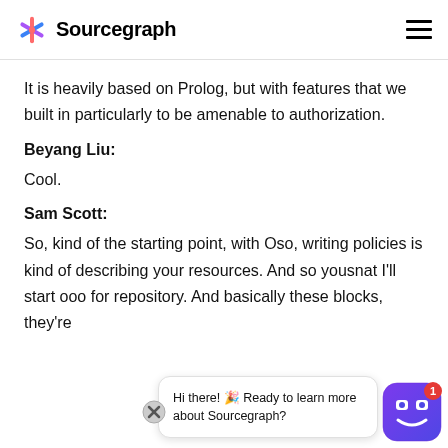Sourcegraph
It is heavily based on Prolog, but with features that we built in particularly to be amenable to authorization.
Beyang Liu:
Cool.
Sam Scott:
So, kind of the starting point, with Oso, writing policies is kind of describing your resources. And so you s… nat I'll start o… oo for repository. And basically these blocks, they're
[Figure (other): Chat bot overlay widget showing 'Hi there! 🎉 Ready to learn more about Sourcegraph?' with a blue robot avatar and close button, notification badge showing 1]